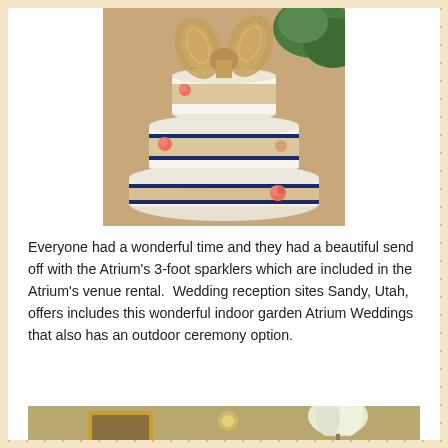[Figure (photo): A three-tier white wedding cake decorated with burlap and lace ribbon wrap, navy blue satin ribbon stripes, and coral/peach roses on each tier, with a large burlap bow on top. Green foliage visible in background.]
Everyone had a wonderful time and they had a beautiful send off with the Atrium’s 3-foot sparklers which are included in the Atrium’s venue rental.  Wedding reception sites Sandy, Utah, offers includes this wonderful indoor garden Atrium Weddings that also has an outdoor ceremony option.
[Figure (photo): Partial view of a wedding reception venue interior showing decorative elements including what appears to be a framed mirror and white floral arrangement.]